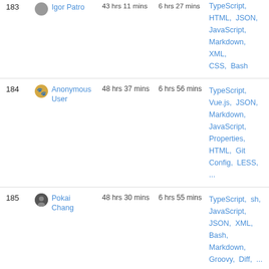| # | User | Total | Daily Avg | Languages |
| --- | --- | --- | --- | --- |
| 183 | Igor Patro | 43 hrs 11 mins | 6 hrs 27 mins | TypeScript, HTML, JSON, JavaScript, Markdown, XML, CSS, Bash |
| 184 | Anonymous User | 48 hrs 37 mins | 6 hrs 56 mins | TypeScript, Vue.js, JSON, Markdown, JavaScript, Properties, HTML, Git Config, LESS, ... |
| 185 | Pokai Chang | 48 hrs 30 mins | 6 hrs 55 mins | TypeScript, sh, JavaScript, JSON, XML, Bash, Markdown, Groovy, Diff, ... |
| 186 | @dowar | 48 hrs 29 mins | 8 hrs 4 mins | TypeScript, Vue.js, PHP, Lua, JSON, HTML, JavaScript, GraphQL, Bash, |